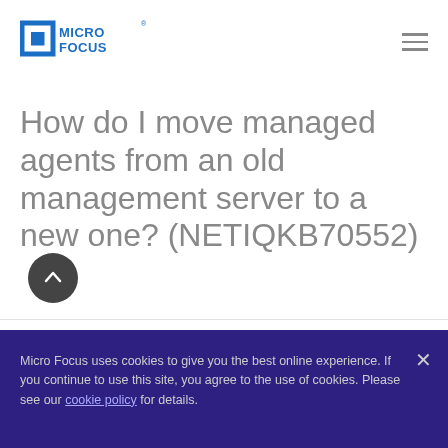Micro Focus logo and navigation menu
How do I move managed agents from an old management server to a new one? (NETIQKB70552)
Document ID:
Micro Focus uses cookies to give you the best online experience. If you continue to use this site, you agree to the use of cookies. Please see our cookie policy for details.